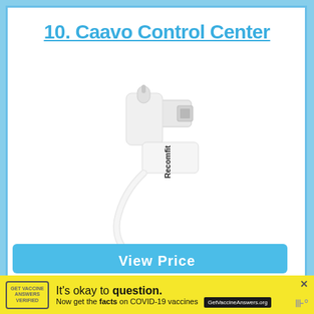10. Caavo Control Center
[Figure (photo): White Recomfit Lightning to 3.5mm headphone jack adapter with a short cable, product photo on white background]
View Price
It's okay to question. Now get the facts on COVID-19 vaccines GetVaccineAnswers.org